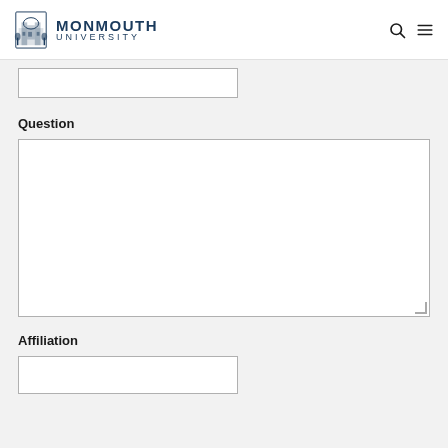MONMOUTH UNIVERSITY
[Figure (other): Empty short text input field (partial, top of page)]
Question
[Figure (other): Large textarea input field for question entry with resize handle]
Affiliation
[Figure (other): Short text input field for affiliation (partial, bottom of page)]